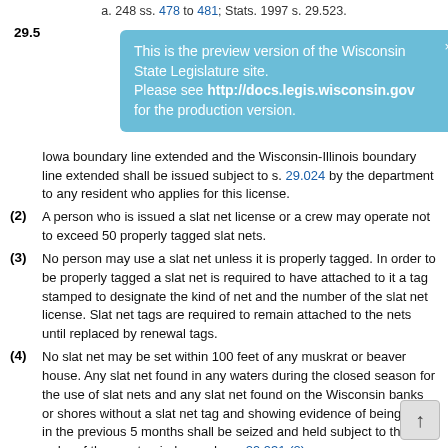a. 248 ss. 478 to 481; Stats. 1997 s. 29.523.
This is the preview version of the Wisconsin State Legislature site. Please see http://docs.legis.wisconsin.gov for the production version.
Iowa boundary line extended and the Wisconsin-Illinois boundary line extended shall be issued subject to s. 29.024 by the department to any resident who applies for this license.
(2) A person who is issued a slat net license or a crew may operate not to exceed 50 properly tagged slat nets.
(3) No person may use a slat net unless it is properly tagged. In order to be properly tagged a slat net is required to have attached to it a tag stamped to designate the kind of net and the number of the slat net license. Slat net tags are required to remain attached to the nets until replaced by renewal tags.
(4) No slat net may be set within 100 feet of any muskrat or beaver house. Any slat net found in any waters during the closed season for the use of slat nets and any slat net found on the Wisconsin banks or shores without a slat net tag and showing evidence of being used in the previous 5 months shall be seized and held subject to the order of the court or judge under s. 29.931 (2).
(5) A sufficient supply of slat net tags shall be furnished by the department to persons issuing approvals under this section.